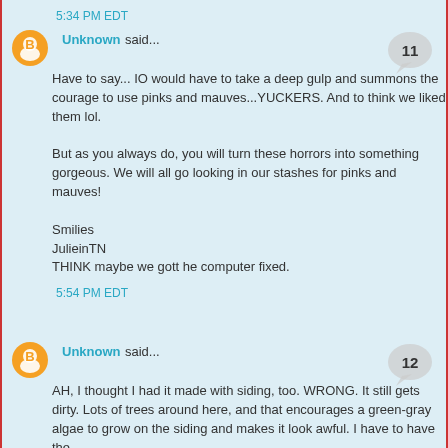5:34 PM EDT
Unknown said...
Have to say... IO would have to take a deep gulp and summons the courage to use pinks and mauves...YUCKERS. And to think we liked them lol.

But as you always do, you will turn these horrors into something gorgeous. We will all go looking in our stashes for pinks and mauves!

Smilies
JulieinTN
THINK maybe we gott he computer fixed.
5:54 PM EDT
Unknown said...
AH, I thought I had it made with siding, too. WRONG. It still gets dirty. Lots of trees around here, and that encourages a green-gray algae to grow on the siding and makes it look awful. I have to have the